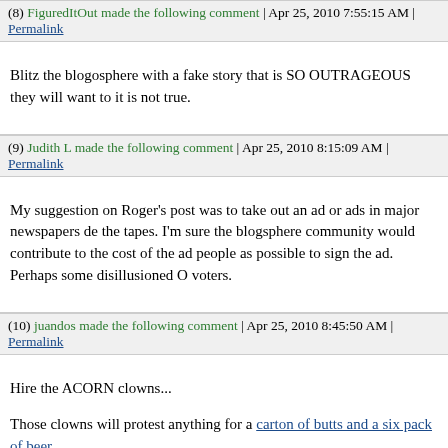(8) FiguredItOut made the following comment | Apr 25, 2010 7:55:15 AM | Permalink
Blitz the blogosphere with a fake story that is SO OUTRAGEOUS they will want to it is not true.
(9) Judith L made the following comment | Apr 25, 2010 8:15:09 AM | Permalink
My suggestion on Roger's post was to take out an ad or ads in major newspapers de the tapes. I'm sure the blogsphere community would contribute to the cost of the ad people as possible to sign the ad. Perhaps some disillusioned O voters.
(10) juandos made the following comment | Apr 25, 2010 8:45:50 AM | Permalink
Hire the ACORN clowns...

Those clowns will protest anything for a carton of butts and a six pack of beer...
(11) MeTooThen made the following comment | Apr 25, 2010 9:19:51 AM | Permalink
Beldar,

The purported tape has long ago been sent down the memory hole.

This is the rule and not exception in the complex and deceitful relationship the lega citizenry, whom I might add, it purports to serve.

In this sordid and sorry example, there was and remains a clear and unequivocal bia "narrative" of a candidate for the most powerful elected position on the world on th almost religious devotion to the candidate and his election.